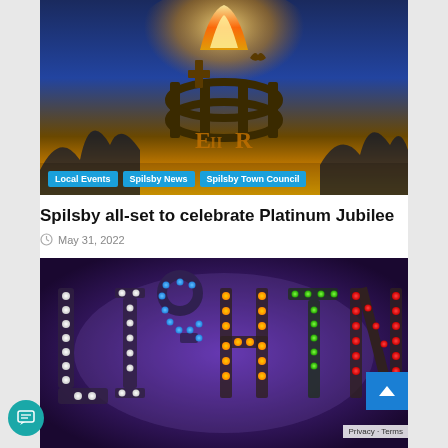[Figure (photo): A lit beacon/brazier with a crown-like metalwork design showing 'ER' cipher, flames visible at top, against a dark blue twilight sky. Blue category tag buttons overlay the bottom of the image.]
Spilsby all-set to celebrate Platinum Jubilee
May 31, 2022
[Figure (photo): Light-up LED letter signs spelling 'LIGHT NIGHT' in multicolored bulb letters (white, blue, orange, green, red) against a purple/dark background.]